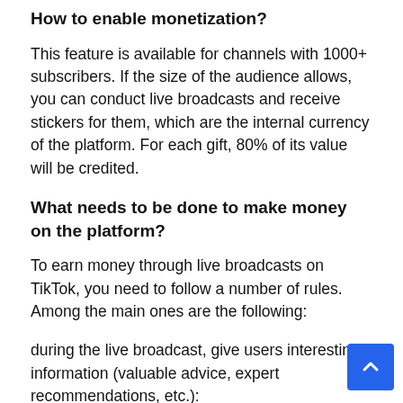How to enable monetization?
This feature is available for channels with 1000+ subscribers. If the size of the audience allows, you can conduct live broadcasts and receive stickers for them, which are the internal currency of the platform. For each gift, 80% of its value will be credited.
What needs to be done to make money on the platform?
To earn money through live broadcasts on TikTok, you need to follow a number of rules. Among the main ones are the following:
during the live broadcast, give users interesting information (valuable advice, expert recommendations, etc.):